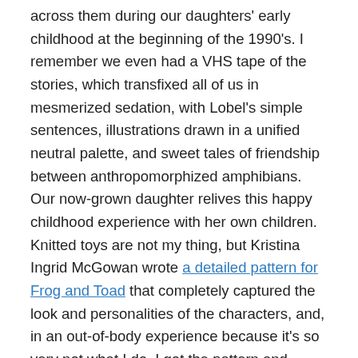across them during our daughters' early childhood at the beginning of the 1990's. I remember we even had a VHS tape of the stories, which transfixed all of us in mesmerized sedation, with Lobel's simple sentences, illustrations drawn in a unified neutral palette, and sweet tales of friendship between anthropomorphized amphibians. Our now-grown daughter relives this happy childhood experience with her own children. Knitted toys are not my thing, but Kristina Ingrid McGowan wrote a detailed pattern for Frog and Toad that completely captured the look and personalities of the characters, and, in an out-of-body experience because it's so very not what I do, I got the pattern and began to study it.
I told myself, no pressure, no promises, I can ditch the project any time I want to, I don't even have to make it, but I had just finished one project and was waiting for the yarn